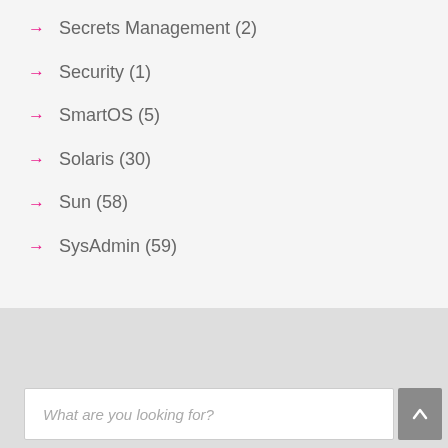Secrets Management (2)
Security (1)
SmartOS (5)
Solaris (30)
Sun (58)
SysAdmin (59)
What are you looking for?